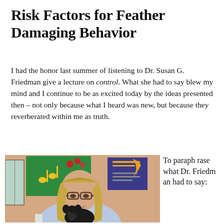Risk Factors for Feather Damaging Behavior
I had the honor last summer of listening to Dr. Susan G. Friedman give a lecture on control. What she had to say blew my mind and I continue to be as excited today by the ideas presented then – not only because what I heard was new, but because they reverberated within me as truth.
[Figure (photo): A woman with long blonde hair wearing glasses and a light blue sweater holds a small black dog. She is seated indoors with colorful artwork/posters on the wall behind her.]
To paraphrase what Dr. Friedman had to say: